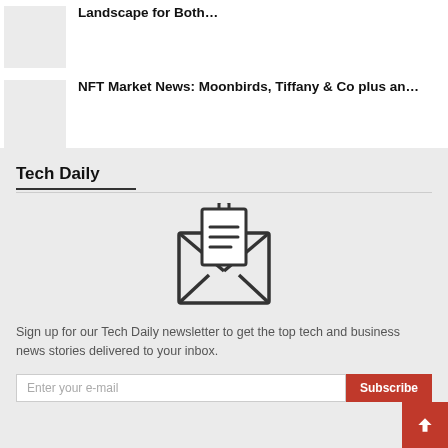[Figure (illustration): Thumbnail placeholder image (light gray rectangle) for article about landscape]
Landscape for Both…
[Figure (illustration): Thumbnail placeholder image (light gray rectangle) for NFT Market News article]
NFT Market News: Moonbirds, Tiffany & Co plus an…
Tech Daily
[Figure (illustration): Open envelope icon with document/newsletter inside, outline style in dark gray]
Sign up for our Tech Daily newsletter to get the top tech and business news stories delivered to your inbox.
Enter your e-mail
Subscribe